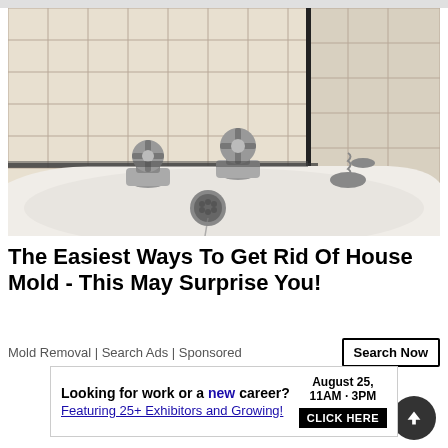[Figure (photo): Close-up photo of a bathtub with two chrome cross-handle faucets and visible black mold growing along the grout lines between white tiles and around the tub edges. A drain plug on a chain is visible in the background.]
The Easiest Ways To Get Rid Of House Mold - This May Surprise You!
Mold Removal | Search Ads | Sponsored
[Figure (screenshot): Advertisement banner: 'Looking for work or a new career? August 25, 11AM - 3PM Featuring 25+ Exhibitors and Growing! CLICK HERE']